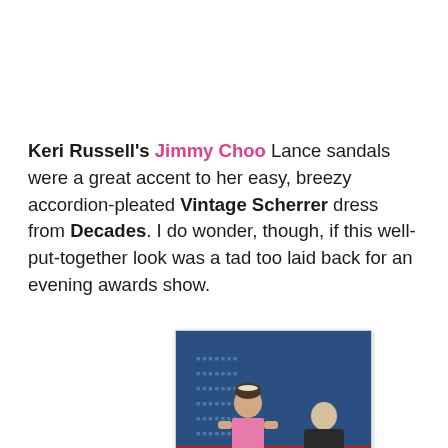Keri Russell's Jimmy Choo Lance sandals were a great accent to her easy, breezy accordion-pleated Vintage Scherrer dress from Decades. I do wonder, though, if this well-put-together look was a tad too laid back for an evening awards show.
[Figure (photo): A woman in a pink accordion-pleated dress standing on a red carpet in front of a blue branded backdrop, with another woman in a dark outfit visible behind her.]